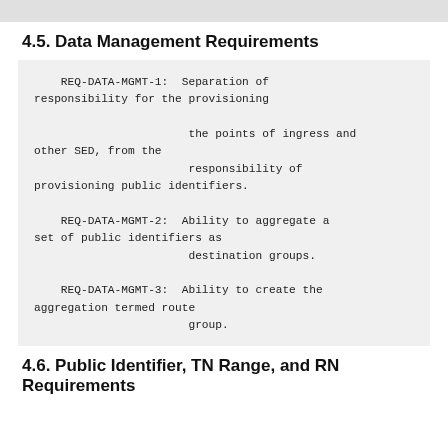4.5. Data Management Requirements
REQ-DATA-MGMT-1:  Separation of responsibility for the provisioning the points of ingress and other SED, from the responsibility of provisioning public identifiers.

REQ-DATA-MGMT-2:  Ability to aggregate a set of public identifiers as destination groups.

REQ-DATA-MGMT-3:  Ability to create the aggregation termed route group.
4.6. Public Identifier, TN Range, and RN Requirements